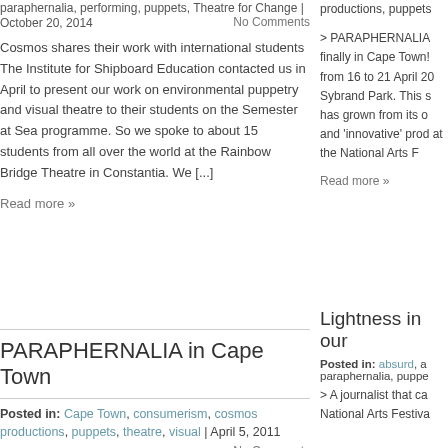paraphernalia, performing, puppets, Theatre for Change | October 20, 2014   No Comments
Cosmos shares their work with international students The Institute for Shipboard Education contacted us in April to present our work on environmental puppetry and visual theatre to their students on the Semester at Sea programme. So we spoke to about 15 students from all over the world at the Rainbow Bridge Theatre in Constantia. We [...]
Read more »
PARAPHERNALIA in Cape Town
Posted in: Cape Town, consumerism, cosmos productions, puppets, theatre, visual | April 5, 2011
No Comments
PARAPHERNALIA, our quirky visual theatre show is
productions, puppets
> PARAPHERNALIA finally in Cape Town! from 16 to 21 April 20 Sybrand Park. This s has grown from its o and 'innovative' prod at the National Arts F
Read more »
Lightness in our
Posted in: absurd, a paraphernalia, puppe
> A journalist that ca National Arts Festiva